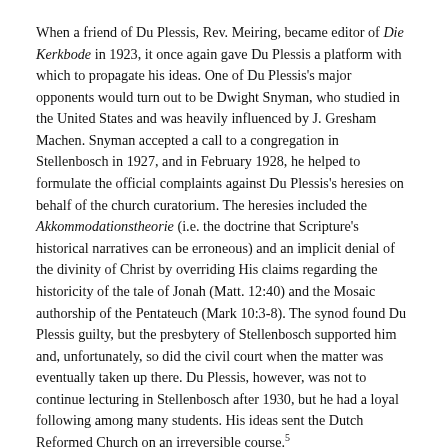When a friend of Du Plessis, Rev. Meiring, became editor of Die Kerkbode in 1923, it once again gave Du Plessis a platform with which to propagate his ideas. One of Du Plessis's major opponents would turn out to be Dwight Snyman, who studied in the United States and was heavily influenced by J. Gresham Machen. Snyman accepted a call to a congregation in Stellenbosch in 1927, and in February 1928, he helped to formulate the official complaints against Du Plessis's heresies on behalf of the church curatorium. The heresies included the Akkommodationstheorie (i.e. the doctrine that Scripture's historical narratives can be erroneous) and an implicit denial of the divinity of Christ by overriding His claims regarding the historicity of the tale of Jonah (Matt. 12:40) and the Mosaic authorship of the Pentateuch (Mark 10:3-8). The synod found Du Plessis guilty, but the presbytery of Stellenbosch supported him and, unfortunately, so did the civil court when the matter was eventually taken up there. Du Plessis, however, was not to continue lecturing in Stellenbosch after 1930, but he had a loyal following among many students. His ideas sent the Dutch Reformed Church on an irreversible course.5
Higher criticism gradually took over the Dutch Reformed theological faculties in all of South Africa, which led to its eventual treason against the Boer people. Before getting there, however, it should first be noted that the denomination which mainly opposed higher criticism in South African theological circles, the Reformed Churches in South Africa, also